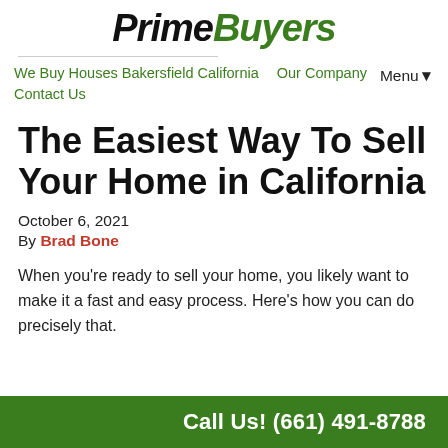PrimeBuyers
We Buy Houses Bakersfield California   Our Company   Contact Us   Menu▾
The Easiest Way To Sell Your Home in California
October 6, 2021
By Brad Bone
When you're ready to sell your home, you likely want to make it a fast and easy process. Here's how you can do precisely that.
Call Us! (661) 491-8788